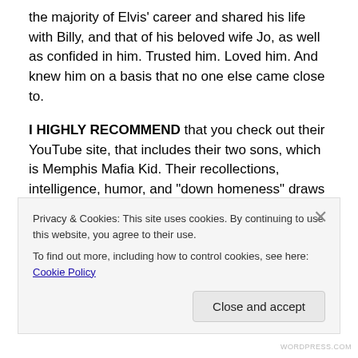the majority of Elvis' career and shared his life with Billy, and that of his beloved wife Jo, as well as confided in him. Trusted him. Loved him. And knew him on a basis that no one else came close to.
I HIGHLY RECOMMEND that you check out their YouTube site, that includes their two sons, which is Memphis Mafia Kid. Their recollections, intelligence, humor, and “down homeness” draws you in and never fails to educate and entertain.
I have the utmost respect for Billy and Jo. Always have.
Privacy & Cookies: This site uses cookies. By continuing to use this website, you agree to their use.
To find out more, including how to control cookies, see here: Cookie Policy